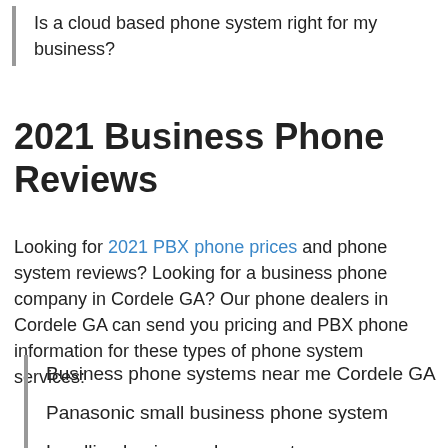Is a cloud based phone system right for my business?
2021 Business Phone Reviews
Looking for 2021 PBX phone prices and phone system reviews? Looking for a business phone company in Cordele GA? Our phone dealers in Cordele GA can send you pricing and PBX phone information for these types of phone system services:
Business phone systems near me Cordele GA
Panasonic small business phone system
Landline business phone systems
31805
Multi line phone systems small business